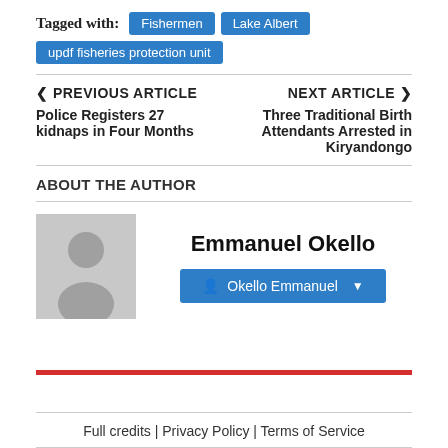Tagged with: Fishermen | Lake Albert | updf fisheries protection unit
< PREVIOUS ARTICLE
Police Registers 27 kidnaps in Four Months
NEXT ARTICLE >
Three Traditional Birth Attendants Arrested in Kiryandongo
ABOUT THE AUTHOR
[Figure (photo): Silhouette placeholder avatar for Emmanuel Okello]
Emmanuel Okello
Okello Emmanuel (dropdown button)
Full credits | Privacy Policy | Terms of Service